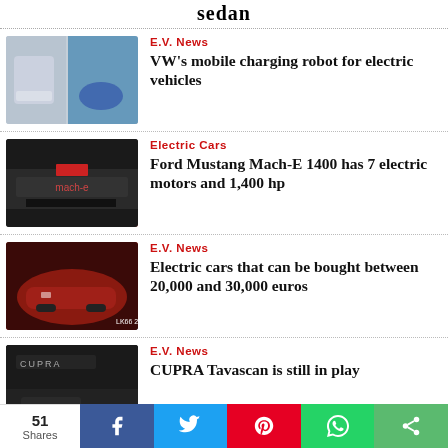sedan
[Figure (photo): VW electric vehicle charging robot and blue EV car]
E.V. News
VW's mobile charging robot for electric vehicles
[Figure (photo): Ford Mustang Mach-E 1400 rear view with large spoiler]
Electric Cars
Ford Mustang Mach-E 1400 has 7 electric motors and 1,400 hp
[Figure (photo): Red Renault Zoe electric car on road]
E.V. News
Electric cars that can be bought between 20,000 and 30,000 euros
[Figure (photo): CUPRA Tavascan dark vehicle close-up]
E.V. News
CUPRA Tavascan is still in play
51 Shares  f  t  p  (whatsapp)  (share)